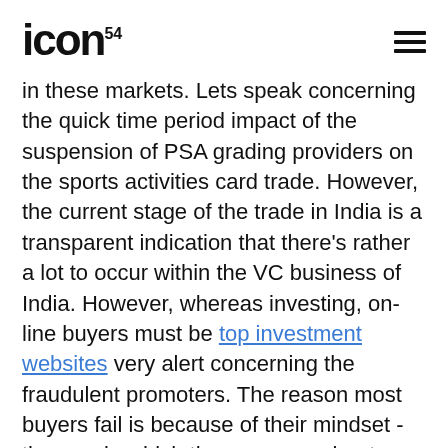ICON54
in these markets. Lets speak concerning the quick time period impact of the suspension of PSA grading providers on the sports activities card trade. However, the current stage of the trade in India is a transparent indication that there’s rather a lot to occur within the VC business of India. However, whereas investing, on-line buyers must be top investment websites very alert concerning the fraudulent promoters. The reason most buyers fail is because of their mindset - the way in which they assume about money and their relationship with it. In case your purpose is to keep up the